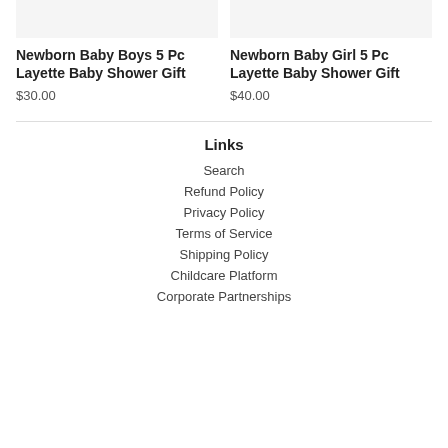[Figure (photo): Newborn Baby Boys product image placeholder (top cropped)]
Newborn Baby Boys 5 Pc Layette Baby Shower Gift
$30.00
[Figure (photo): Newborn Baby Girl product image placeholder (top cropped)]
Newborn Baby Girl 5 Pc Layette Baby Shower Gift
$40.00
Links
Search
Refund Policy
Privacy Policy
Terms of Service
Shipping Policy
Childcare Platform
Corporate Partnerships